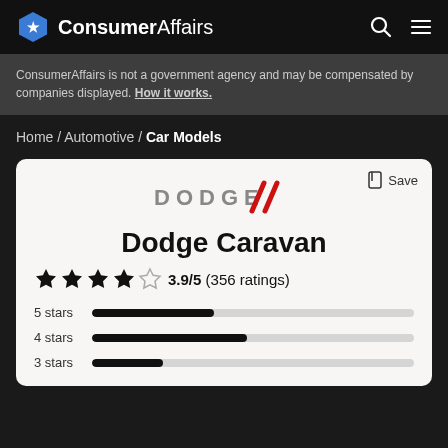ConsumerAffairs
ConsumerAffairs is not a government agency and may be compensated by companies displayed. How it works.
Home / Automotive / Car Models
[Figure (logo): Dodge brand logo in silver/gray lettering with red double-slash stripes]
Dodge Caravan
3.9/5 (356 ratings)
5 stars
4 stars
3 stars